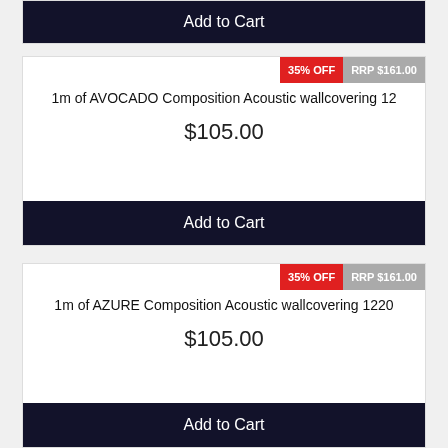Add to Cart
35% OFF | RRP $161.00
1m of AVOCADO Composition Acoustic wallcovering 12
$105.00
Add to Cart
35% OFF | RRP $161.00
1m of AZURE Composition Acoustic wallcovering 1220
$105.00
Add to Cart